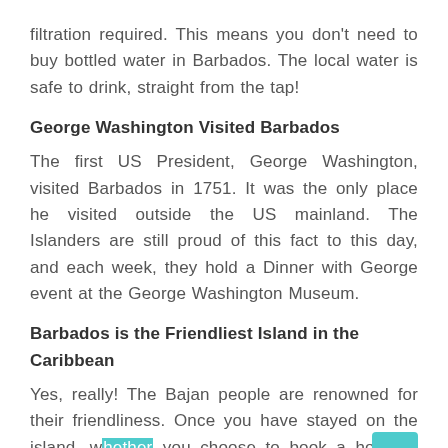filtration required. This means you don't need to buy bottled water in Barbados. The local water is safe to drink, straight from the tap!
George Washington Visited Barbados
The first US President, George Washington, visited Barbados in 1751. It was the only place he visited outside the US mainland. The Islanders are still proud of this fact to this day, and each week, they hold a Dinner with George event at the George Washington Museum.
Barbados is the Friendliest Island in the Caribbean
Yes, really! The Bajan people are renowned for their friendliness. Once you have stayed on the island, whether you choose to book a hotel or Barbados villas, you will definitely want to return. In a survey carried out by a